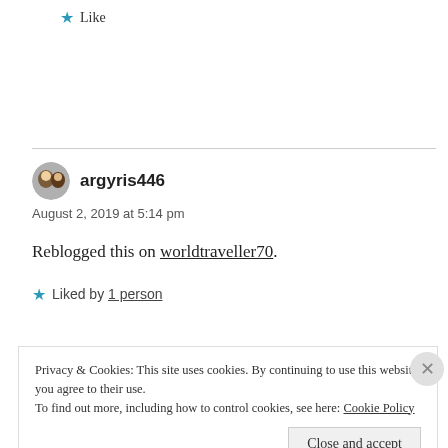★ Like
argyris446
August 2, 2019 at 5:14 pm
Reblogged this on worldtraveller70.
★ Liked by 1 person
Privacy & Cookies: This site uses cookies. By continuing to use this website, you agree to their use.
To find out more, including how to control cookies, see here: Cookie Policy
Close and accept